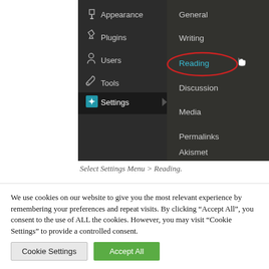[Figure (screenshot): WordPress admin sidebar screenshot showing Settings menu expanded with sub-items: General, Writing, Reading (highlighted in cyan with red oval), Discussion, Media, Permalinks, Akismet. Left sidebar shows Appearance, Plugins, Users, Tools, Settings menu items with icons.]
Select Settings Menu > Reading.
We use cookies on our website to give you the most relevant experience by remembering your preferences and repeat visits. By clicking "Accept All", you consent to the use of ALL the cookies. However, you may visit "Cookie Settings" to provide a controlled consent.